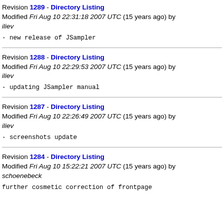Revision 1289 - Directory Listing
Modified Fri Aug 10 22:31:18 2007 UTC (15 years ago) by iliev
- new release of JSampler
Revision 1288 - Directory Listing
Modified Fri Aug 10 22:29:53 2007 UTC (15 years ago) by iliev
- updating JSampler manual
Revision 1287 - Directory Listing
Modified Fri Aug 10 22:26:49 2007 UTC (15 years ago) by iliev
- screenshots update
Revision 1284 - Directory Listing
Modified Fri Aug 10 15:22:21 2007 UTC (15 years ago) by schoenebeck
further cosmetic correction of frontpage